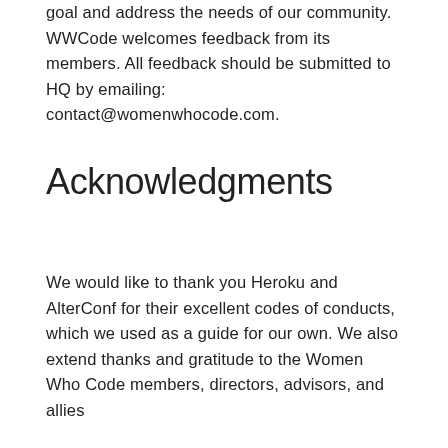goal and address the needs of our community. WWCode welcomes feedback from its members. All feedback should be submitted to HQ by emailing: contact@womenwhocode.com.
Acknowledgments
We would like to thank you Heroku and AlterConf for their excellent codes of conducts, which we used as a guide for our own. We also extend thanks and gratitude to the Women Who Code members, directors, advisors, and allies